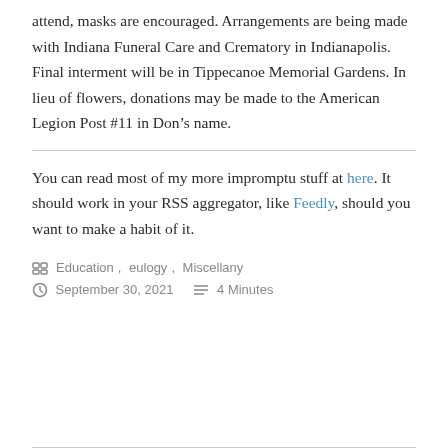attend, masks are encouraged. Arrangements are being made with Indiana Funeral Care and Crematory in Indianapolis. Final interment will be in Tippecanoe Memorial Gardens. In lieu of flowers, donations may be made to the American Legion Post #11 in Don’s name.
You can read most of my more impromptu stuff at here. It should work in your RSS aggregator, like Feedly, should you want to make a habit of it.
Education, eulogy, Miscellany
September 30, 2021   4 Minutes